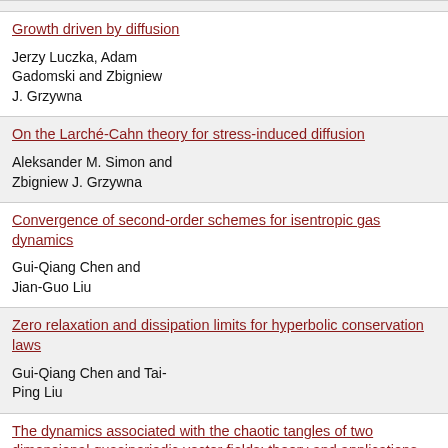Growth driven by diffusion
Jerzy Luczka, Adam Gadomski and Zbigniew J. Grzywna
On the Larché-Cahn theory for stress-induced diffusion
Aleksander M. Simon and Zbigniew J. Grzywna
Convergence of second-order schemes for isentropic gas dynamics
Gui-Qiang Chen and Jian-Guo Liu
Zero relaxation and dissipation limits for hyperbolic conservation laws
Gui-Qiang Chen and Tai-Ping Liu
The dynamics associated with the chaotic tangles of two dimensional quasiperiodic vector fields: theory and applications